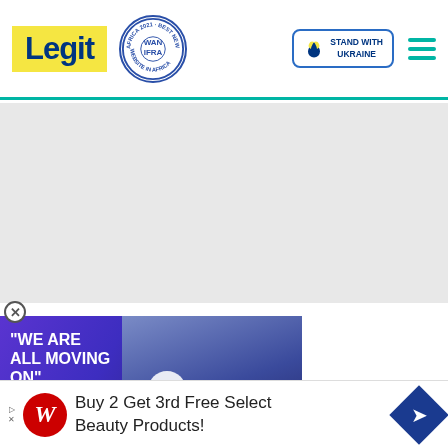Legit | WAN IFRA 2021 Best News Website in Africa | Stand with Ukraine
[Figure (screenshot): Gray advertisement placeholder area]
[Figure (screenshot): Video thumbnail card with quote 'WE ARE ALL MOVING ON' and photo of couple, play button overlay, and red chevron-down button]
[Figure (infographic): Bottom advertisement banner: Buy 2 Get 3rd Free Select Beauty Products! Walgreens ad]